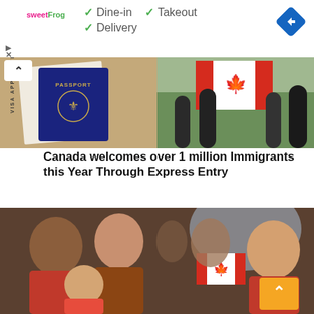[Figure (screenshot): SweetFrog advertisement banner with checkmarks for Dine-in, Takeout, and Delivery, sweetFrog logo on left, blue diamond navigation arrow on right top corner]
[Figure (photo): Composite photo: left side shows a passport on top of a visa application form; right side shows people holding a Canadian flag outdoors. Chevron-up button overlay at top left.]
Canada welcomes over 1 million Immigrants this Year Through Express Entry
[Figure (photo): People celebrating at an airport or immigration ceremony, holding small Canadian flags. A child on the right smiles brightly. An orange scroll-to-top button is visible at bottom right.]